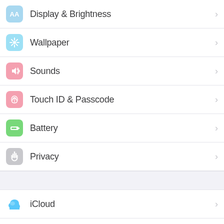Display & Brightness
Wallpaper
Sounds
Touch ID & Passcode
Battery
Privacy
iCloud
iTunes & App Store